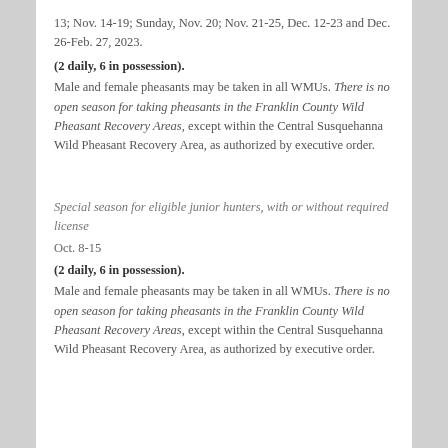13; Nov. 14-19; Sunday, Nov. 20; Nov. 21-25, Dec. 12-23 and Dec. 26-Feb. 27, 2023.
(2 daily, 6 in possession).
Male and female pheasants may be taken in all WMUs. There is no open season for taking pheasants in the Franklin County Wild Pheasant Recovery Areas, except within the Central Susquehanna Wild Pheasant Recovery Area, as authorized by executive order.
Special season for eligible junior hunters, with or without required license
Oct. 8-15
(2 daily, 6 in possession).
Male and female pheasants may be taken in all WMUs. There is no open season for taking pheasants in the Franklin County Wild Pheasant Recovery Areas, except within the Central Susquehanna Wild Pheasant Recovery Area, as authorized by executive order.